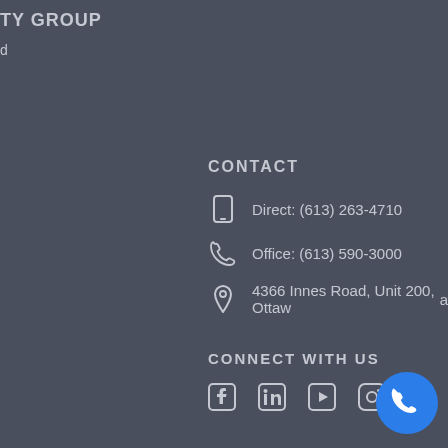TY GROUP
d
CONTACT
Direct: (613) 263-4710
Office: (613) 590-3000
4366 Innes Road, Unit 200, Ottawa
CONNECT WITH US
[Figure (other): Social media icons: Facebook, LinkedIn, YouTube, Instagram]
[Figure (other): Blue circular call button with phone icon]